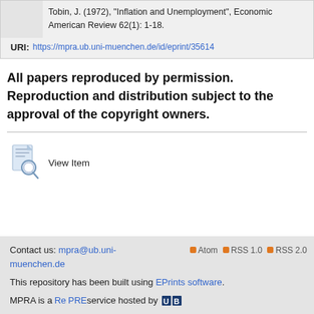Tobin, J. (1972), “Inflation and Unemployment”, Economic American Review 62(1): 1-18.
URI: https://mpra.ub.uni-muenchen.de/id/eprint/35614
All papers reproduced by permission. Reproduction and distribution subject to the approval of the copyright owners.
[Figure (other): View Item icon - document with magnifying glass]
View Item
Contact us: mpra@ub.uni-muenchen.de
Atom RSS 1.0 RSS 2.0
This repository has been built using EPrints software.
MPRA is a RePRints service hosted by